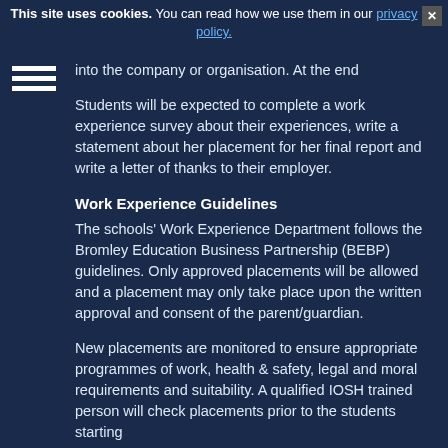This site uses cookies. You can read how we use them in our privacy policy.
into the company or organisation. At the end
Students will be expected to complete a work experience survey about their experiences, write a statement about her placement for her final report and write a letter of thanks to their employer.
Work Experience Guidelines
The schools' Work Experience Department follows the Bromley Education Business Partnership (BEBP) guidelines. Only approved placements will be allowed and a placement may only take place upon the written approval and consent of the parent/guardian.
New placements are monitored to ensure appropriate programmes of work, health & safety, legal and moral requirements and suitability. A qualified IOSH trained person will check placements prior to the students starting